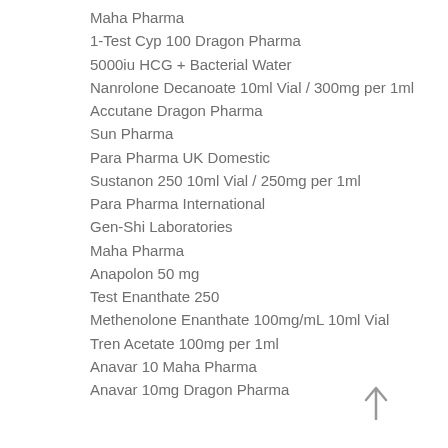Maha Pharma
1-Test Cyp 100 Dragon Pharma
5000iu HCG + Bacterial Water
Nanrolone Decanoate 10ml Vial / 300mg per 1ml
Accutane Dragon Pharma
Sun Pharma
Para Pharma UK Domestic
Sustanon 250 10ml Vial / 250mg per 1ml
Para Pharma International
Gen-Shi Laboratories
Maha Pharma
Anapolon 50 mg
Test Enanthate 250
Methenolone Enanthate 100mg/mL 10ml Vial
Tren Acetate 100mg per 1ml
Anavar 10 Maha Pharma
Anavar 10mg Dragon Pharma